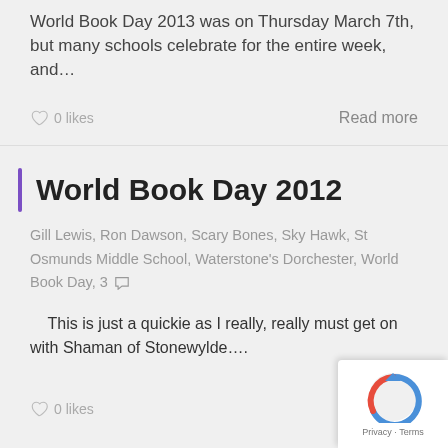World Book Day 2013 was on Thursday March 7th, but many schools celebrate for the entire week, and…
♡ 0 likes    Read more
World Book Day 2012
Gill Lewis, Ron Dawson, Scary Bones, Sky Hawk, St Osmunds Middle School, Waterstone's Dorchester, World Book Day, 3
This is just a quickie as I really, really must get on with Shaman of Stonewylde….
♡ 0 likes    Re…